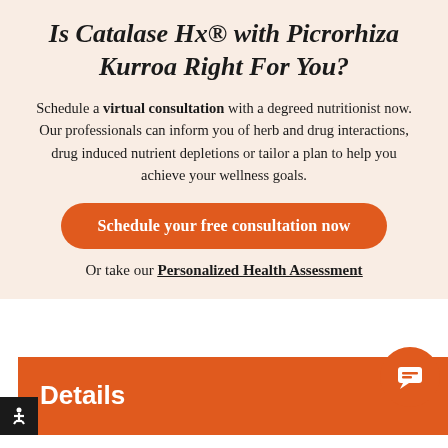Is Catalase Hx® with Picrorhiza Kurroa Right For You?
Schedule a virtual consultation with a degreed nutritionist now. Our professionals can inform you of herb and drug interactions, drug induced nutrient depletions or tailor a plan to help you achieve your wellness goals.
Schedule your free consultation now
Or take our Personalized Health Assessment
Details